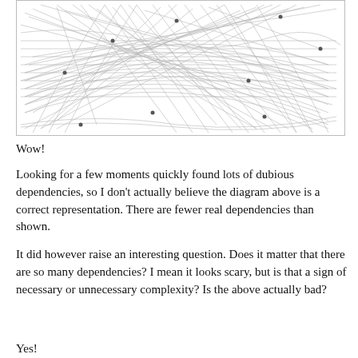[Figure (network-graph): Dense network graph with many crossing lines representing dependencies between nodes, appearing as a complex web of interconnected grey/black lines on a white background inside a bordered rectangle.]
Wow!
Looking for a few moments quickly found lots of dubious dependencies, so I don't actually believe the diagram above is a correct representation.  There are fewer real dependencies than shown.
It did however raise an interesting question.  Does it matter that there are so many dependencies?  I mean it looks scary, but is that a sign of necessary or unnecessary complexity?   Is the above actually bad?
Yes!